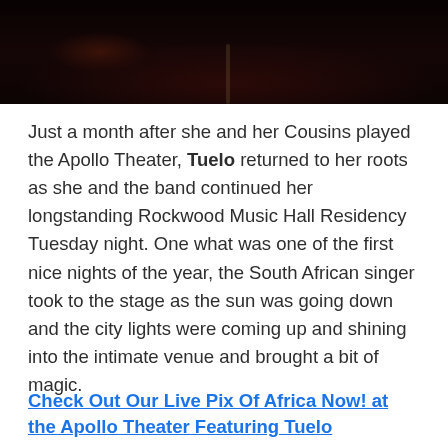[Figure (photo): Dark concert/venue photo showing a dimly lit stage or interior, taken from above or at an angle. Very dark with reddish-brown ambient lighting.]
Just a month after she and her Cousins played the Apollo Theater, Tuelo returned to her roots as she and the band continued her longstanding Rockwood Music Hall Residency Tuesday night. One what was one of the first nice nights of the year, the South African singer took to the stage as the sun was going down and the city lights were coming up and shining into the intimate venue and brought a bit of magic.
Check Out Our Live Pix Of Africa Now! at the Apollo Theater Featuring Tuelo
[Figure (photo): Concert photo at Rockwood Music Hall showing three musicians on stage: a guitarist on the left wearing a striped shirt, a female singer in a teal/green dress in the center singing into a microphone, and a third musician on the right. A piano is visible in the background. The venue has exposed brick walls with reddish ambient lighting.]